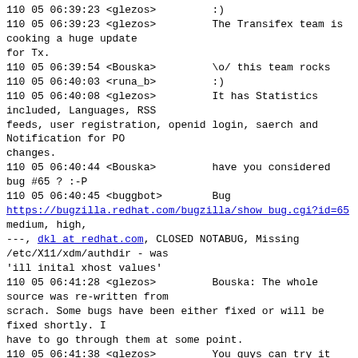110 05 06:39:23 <glezos>         :)
110 05 06:39:23 <glezos>         The Transifex team is cooking a huge update
for Tx.
110 05 06:39:54 <Bouska>         \o/ this team rocks
110 05 06:40:03 <runa_b>         :)
110 05 06:40:08 <glezos>         It has Statistics included, Languages, RSS
feeds, user registration, openid login, saerch and Notification for PO
changes.
110 05 06:40:44 <Bouska>         have you considered bug #65 ? :-P
110 05 06:40:45 <buggbot>        Bug
https://bugzilla.redhat.com/bugzilla/show_bug.cgi?id=65
medium, high,
---, dkl at redhat.com, CLOSED NOTABUG, Missing /etc/X11/xdm/authdir - was
'ill inital xhost values'
110 05 06:41:28 <glezos>         Bouska: The whole source was re-written from
scrach. Some bugs have been either fixed or will be fixed shortly. I
have to go through them at some point.
110 05 06:41:38 <glezos>         You guys can try it Live at
http://beta.transifex.net/
110 05 06:41:47 <glezos>         Username: demo, Password: demo05
110 05 06:42:15 <glezos>         Warning: It's still